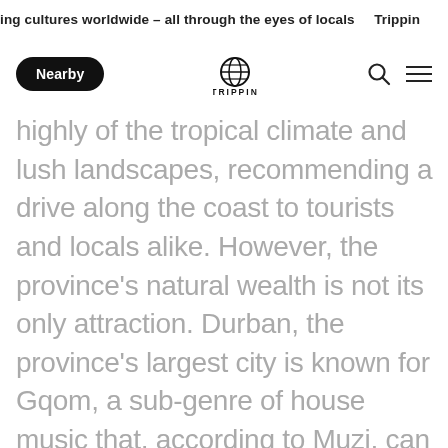ing cultures worldwide – all through the eyes of locals   Trippin
Nearby  TRIPPIN
highly of the tropical climate and lush landscapes, recommending a drive along the coast to tourists and locals alike. However, the province's natural wealth is not its only attraction. Durban, the province's largest city is known for Gqom, a sub-genre of house music that, according to Muzi, can be enjoyed free of judgement at any of the clubs he recommends. In his guide, Muzi treats us to his KwaZulu-Natal, directing us to the places where musicians kickstart their careers and to the most popular Gqom